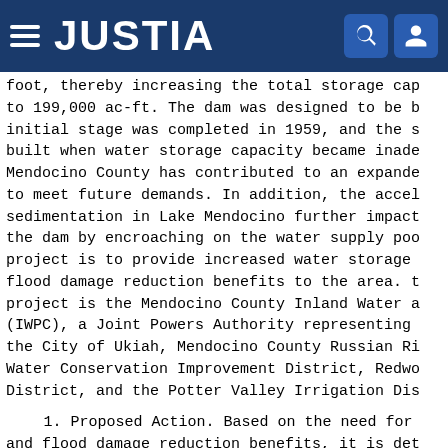JUSTIA
foot, thereby increasing the total storage capacity to 199,000 ac-ft. The dam was designed to be built in stages; the initial stage was completed in 1959, and the second stage was to be built when water storage capacity became inadequate. Growth in Mendocino County has contributed to an expanded need for water to meet future demands. In addition, the accelerated rate of sedimentation in Lake Mendocino further impacts the capacity of the dam by encroaching on the water supply pool. The purpose of the project is to provide increased water storage capacity and flood damage reduction benefits to the area. The proponent of the project is the Mendocino County Inland Water and Power Commission (IWPC), a Joint Powers Authority representing Mendocino County, the City of Ukiah, Mendocino County Russian River Flood Control and Water Conservation Improvement District, Redwood Valley County Water District, and the Potter Valley Irrigation District.
1. Proposed Action. Based on the need for water supply and flood damage reduction benefits, it is det